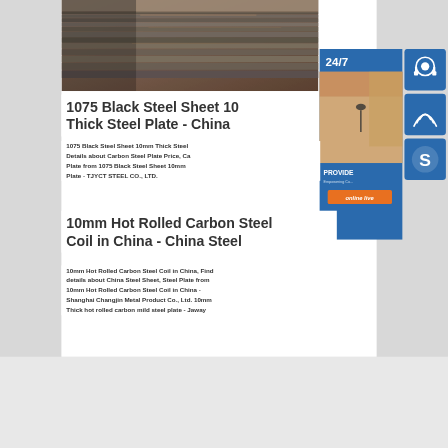[Figure (photo): Stack of dark steel plates/sheets photographed from above at an angle, showing layered metal edges]
[Figure (infographic): 24/7 customer service sidebar with woman wearing headset, headset icon, phone icon, Skype icon, and 'online live' button]
1075 Black Steel Sheet 10mm Thick Steel Plate - China
1075 Black Steel Sheet 10mm Thick Steel Plate, Find Details about Carbon Steel Plate Price, Carbon Steel Plate from 1075 Black Steel Sheet 10mm Thick Steel Plate - TJYCT STEEL CO., LTD.
10mm Hot Rolled Carbon Steel Coil in China - China Steel
10mm Hot Rolled Carbon Steel Coil in China, Find details about China Steel Sheet, Steel Plate from 10mm Hot Rolled Carbon Steel Coil in China - Shanghai Changjin Metal Product Co., Ltd. 10mm Thick hot rolled carbon mild steel plate - Jaway